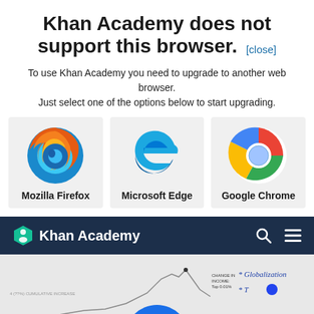Khan Academy does not support this browser. [close]
To use Khan Academy you need to upgrade to another web browser. Just select one of the options below to start upgrading.
[Figure (logo): Mozilla Firefox browser logo with fox and flame]
Mozilla Firefox
[Figure (logo): Microsoft Edge browser logo in blue]
Microsoft Edge
[Figure (logo): Google Chrome browser logo]
Google Chrome
Khan Academy
[Figure (screenshot): Khan Academy lesson preview with a line chart showing income change, annotations including 'Globalization' and a play button]